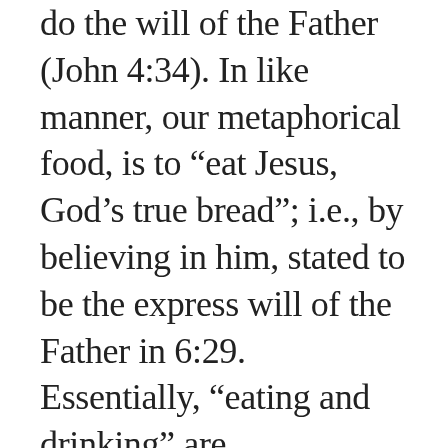do the will of the Father (John 4:34). In like manner, our metaphorical food, is to “eat Jesus, God’s true bread”; i.e., by believing in him, stated to be the express will of the Father in 6:29. Essentially, “eating and drinking” are synonymous with “believing in Christ” because they both produce the same result: namely, eternal life! In John 5:24, 6:35, 6:40, 6:47, we read that believing in him results